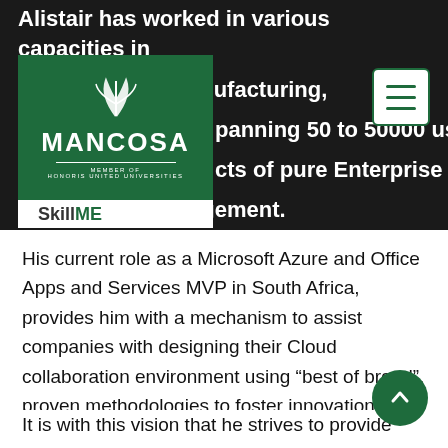Alistair has worked in various capacities in
[Figure (logo): MANCOSA – Member of Honoris United Universities logo on green background, with SkillME text below]
s from retail – manufacturing, panning 50 to 50000 users, cts of pure Enterprise Information Management.
His current role as a Microsoft Azure and Office Apps and Services MVP in South Africa, provides him with a mechanism to assist companies with designing their Cloud collaboration environment using “best of breed”, proven methodologies to foster innovation and growth through a Content Services framework while incorporating a Knowledge Management strategy.
It is with this vision that he strives to provide